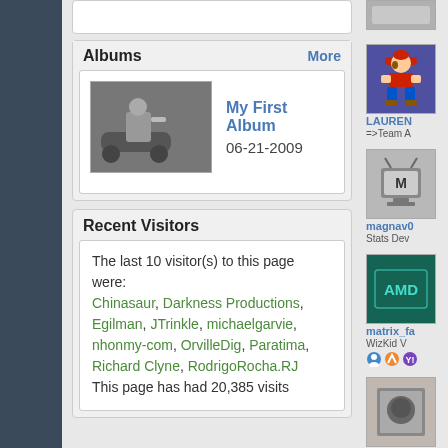Albums   More
[Figure (photo): Album thumbnail showing a person on a scooter/motorcycle]
My First Album
06-21-2009
Recent Visitors
The last 10 visitor(s) to this page were:
Chinasaur, Darkness Productions, Egilman, JTrinkle, michaelgarvie, nhonmy-com, OrvilleDig, Paratima, Richard Clyne, RodrigoRocha.RJ
This page has had 20,385 visits
[Figure (photo): Gray thumbnail at top right]
[Figure (photo): Mario character avatar - LAUREN =>Team A]
LAUREN
=>Team A
[Figure (photo): Magnav0 avatar with TV icon - Stats Dev]
magnav0
Stats Dev
[Figure (photo): matrix_fa avatar AMD - WizKid V]
matrix_fa
WizKid V
[Figure (photo): Moogie avatar - Peaches]
Moogie
Peaches